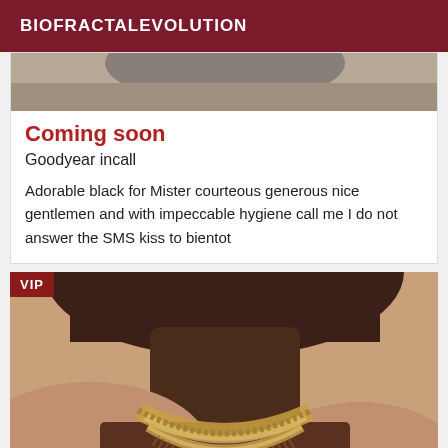BIOFRACTALEVOLUTION
[Figure (photo): Partial photo visible at top of listing card, cropped torso/head area]
Coming soon
Goodyear incall
Adorable black for Mister courteous generous nice gentlemen and with impeccable hygiene call me I do not answer the SMS kiss to bientot
[Figure (photo): VIP labeled photo of a person wearing a gold necklace and pink top, dark skin tone, head partially cropped]